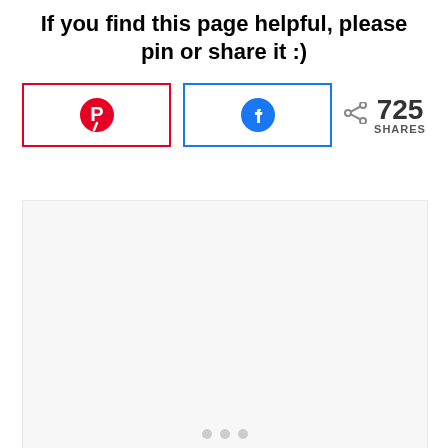If you find this page helpful, please pin or share it :)
[Figure (screenshot): Social sharing buttons row with Pinterest button (red border), Facebook button (blue border), share icon, and 725 SHARES count, followed by a light gray advertisement placeholder box with three dots at bottom center]